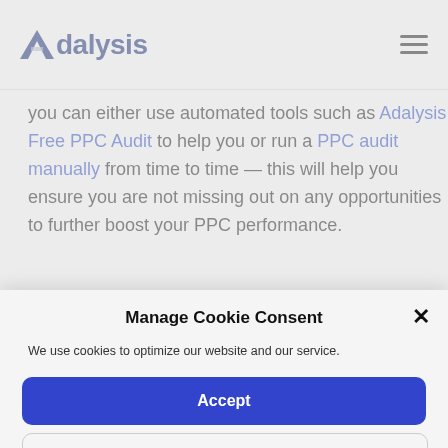Adalysis
you can either use automated tools such as Adalysis Free PPC Audit to help you or run a PPC audit manually from time to time — this will help you ensure you are not missing out on any opportunities to further boost your PPC performance.
Manage Cookie Consent
We use cookies to optimize our website and our service.
Accept
Preferences
Cookie Policy   Privacy Policy